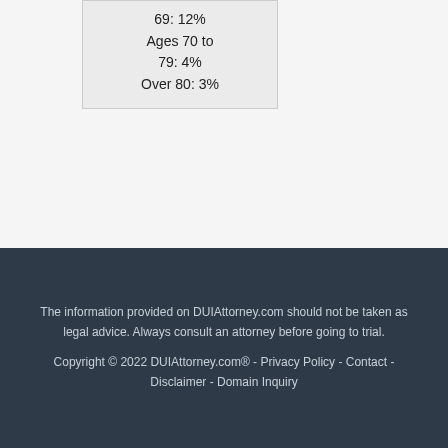| 69: 12% |
| Ages 70 to 79: 4% |
| Over 80: 3% |
The information provided on DUIAttorney.com should not be taken as legal advice. Always consult an attorney before going to trial. Copyright © 2022 DUIAttorney.com® - Privacy Policy - Contact - Disclaimer - Domain Inquiry